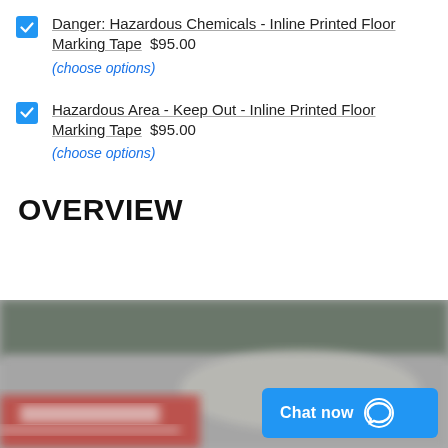Danger: Hazardous Chemicals - Inline Printed Floor Marking Tape  $95.00
(choose options)
Hazardous Area - Keep Out - Inline Printed Floor Marking Tape  $95.00
(choose options)
OVERVIEW
[Figure (photo): Blurred photograph of floor marking tape applied to a warehouse or industrial floor, showing red markings visible in the lower left. A blue 'Chat now' button overlay is visible in the bottom right corner.]